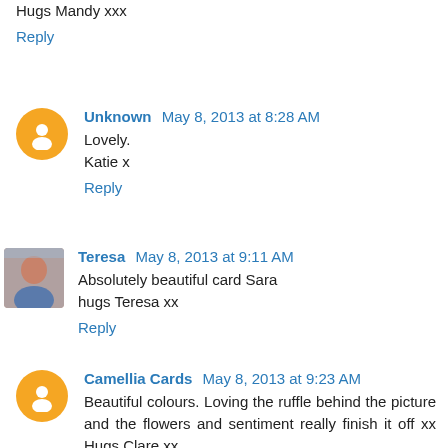Hugs Mandy xxx
Reply
Unknown May 8, 2013 at 8:28 AM
Lovely.
Katie x
Reply
Teresa May 8, 2013 at 9:11 AM
Absolutely beautiful card Sara
hugs Teresa xx
Reply
Camellia Cards May 8, 2013 at 9:23 AM
Beautiful colours. Loving the ruffle behind the picture and the flowers and sentiment really finish it off xx Hugs Clare xx